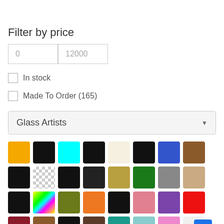Filter by price
| Min | Max |
| --- | --- |
| 0 | 12000 |
In stock
Made To Order (165)
Glass Artists
[Figure (infographic): Color swatches grid showing various colors: gold/yellow, black, cyan, black, cream/white, black, blue, brown, black (row 1); checkerboard/transparent, black, black, gold/tan, green, gray, tan/beige, black, rainbow (row 2); olive green, orange, black, pink, purple, red, dark red, brown, black (row 3); brown, teal, light blue, pink/magenta, white/cream, yellow (row 4 partial)]